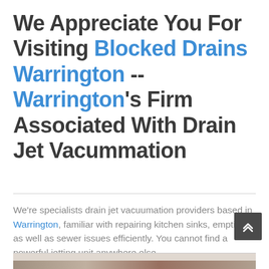We Appreciate You For Visiting Blocked Drains Warrington -- Warrington's Firm Associated With Drain Jet Vacummation
We're specialists drain jet vacuumation providers based in Warrington, familiar with repairing kitchen sinks, empties, as well as sewer issues efficiently. You cannot find a powerful jetting unit anywhere else.
[Figure (photo): Partial image strip visible at the bottom of the page]